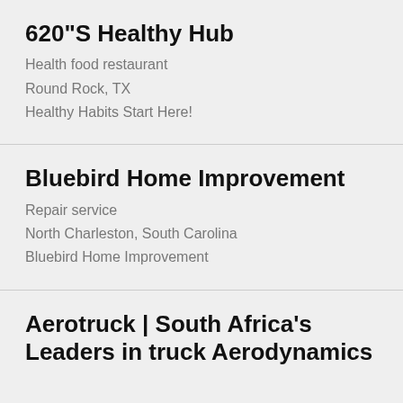620"S Healthy Hub
Health food restaurant
Round Rock, TX
Healthy Habits Start Here!
Bluebird Home Improvement
Repair service
North Charleston, South Carolina
Bluebird Home Improvement
Aerotruck | South Africa's Leaders in truck Aerodynamics